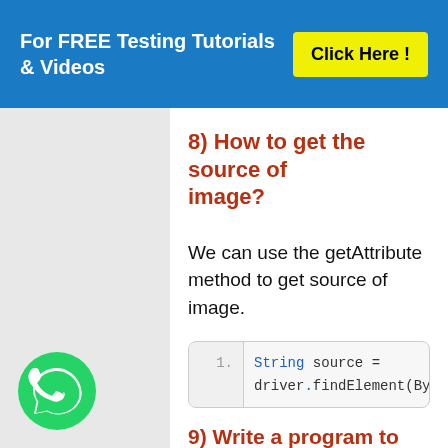For FREE Testing Tutorials & Videos   Click Here !
8) How to get the source of image?
We can use the getAttribute method to get source of image.
9) Write a program to count the number of links in a page?
[Figure (logo): WhatsApp icon — green circle with white phone handset]